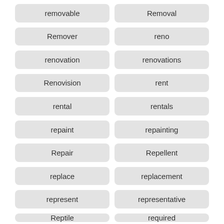removable
Removal
Remover
reno
renovation
renovations
Renovision
rent
rental
rentals
repaint
repainting
Repair
Repellent
replace
replacement
represent
representative
Reptile
required